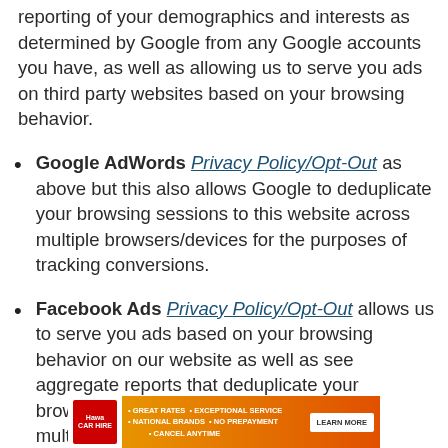reporting of your demographics and interests as determined by Google from any Google accounts you have, as well as allowing us to serve you ads on third party websites based on your browsing behavior.
Google AdWords (Privacy Policy/Opt-Out) as above but this also allows Google to deduplicate your browsing sessions to this website across multiple browsers/devices for the purposes of tracking conversions.
Facebook Ads (Privacy Policy/Opt-Out) allows us to serve you ads based on your browsing behavior on our website as well as see aggregate reports that deduplicate your browsing sessions to this website across multiple browsers/devices.
[Figure (infographic): Advertisement banner for Hawa car rental with orange/red gradient background, logo on left, bullet points for Great Rates, Exceptional Service, National Brands, No Prepayment, Cancel Anytime, and a Learn More button]